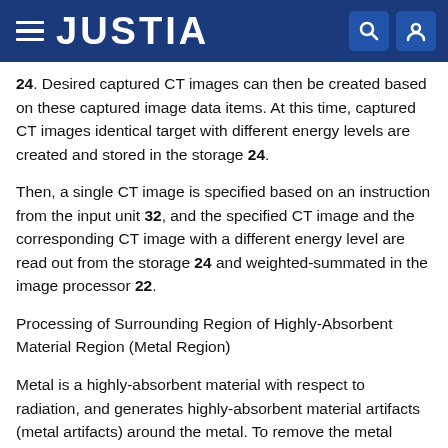JUSTIA
24. Desired captured CT images can then be created based on these captured image data items. At this time, captured CT images identical target with different energy levels are created and stored in the storage 24.
Then, a single CT image is specified based on an instruction from the input unit 32, and the specified CT image and the corresponding CT image with a different energy level are read out from the storage 24 and weighted-summated in the image processor 22.
Processing of Surrounding Region of Highly-Absorbent Material Region (Metal Region)
Metal is a highly-absorbent material with respect to radiation, and generates highly-absorbent material artifacts (metal artifacts) around the metal. To remove the metal artifacts, weighted summation is applied to